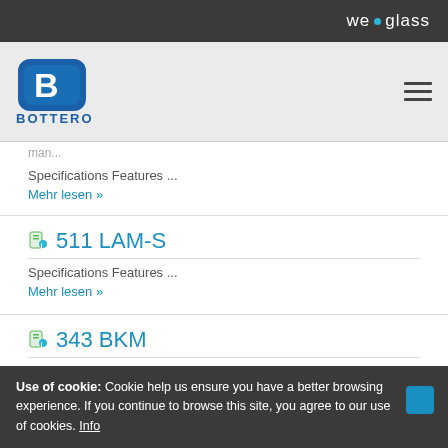we glass
[Figure (logo): Bottero company logo with stylized B in rounded square and BOTTERO text below]
Specifications Features ...
Mehr lesen »
511 LAM-S
Specifications Features ...
Mehr lesen »
343 BKM
Specifications Features ...
Use of cookie: Cookie help us ensure you have a better browsing experience. If you continue to browse this site, you agree to our use of cookies. Info